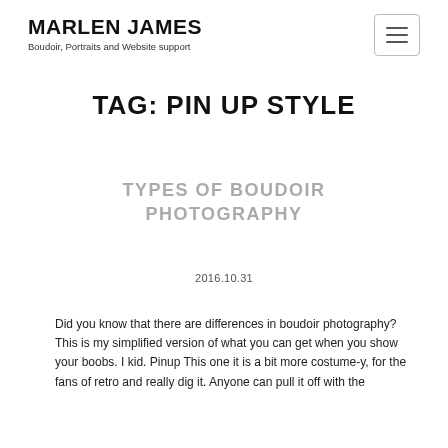MARLEN JAMES
Boudoir, Portraits and Website support
TAG: PIN UP STYLE
TYPES OF BOUDOIR PHOTOGRAPHY
2016.10.31
Did you know that there are differences in boudoir photography? This is my simplified version of what you can get when you show your boobs. I kid. Pinup This one it is a bit more costume-y, for the fans of retro and really dig it. Anyone can pull it off with the